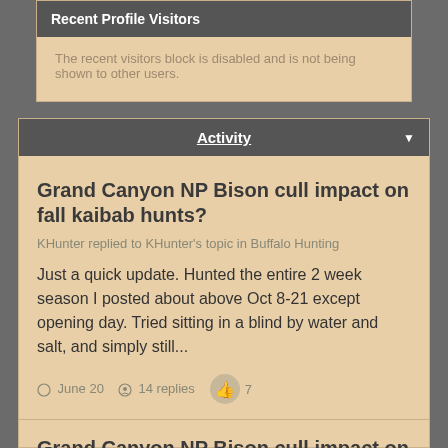Recent Profile Visitors
The recent visitors block is disabled and is not being shown to other users.
Activity
Grand Canyon NP Bison cull impact on fall kaibab hunts?
KHunter replied to KHunter's topic in Buffalo Hunting
Just a quick update. Hunted the entire 2 week season I posted about above Oct 8-21 except opening day. Tried sitting in a blind by water and salt, and simply still...
June 20  14 replies  7
Grand Canyon NP Bison cull impact on fall kaibab hunts?